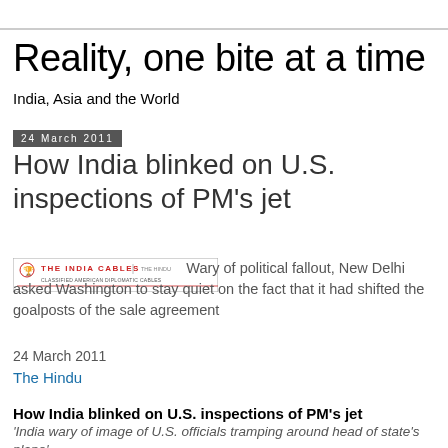Reality, one bite at a time
India, Asia and the World
24 March 2011
How India blinked on U.S. inspections of PM's jet
[Figure (logo): The India Cables logo/banner image]
Wary of political fallout, New Delhi asked Washington to stay quiet on the fact that it had shifted the goalposts of the sale agreement
24 March 2011
The Hindu
How India blinked on U.S. inspections of PM's jet
'India wary of image of U.S. officials tramping around head of state's plane'